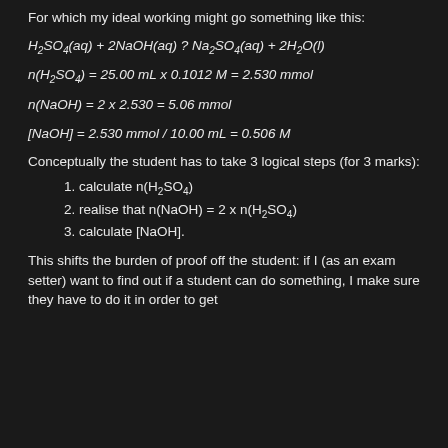For which my ideal working might go something like this:
Conceptually the student has to take 3 logical steps (for 3 marks):
1. calculate n(H2SO4)
2. realise that n(NaOH) = 2 x n(H2SO4)
3. calculate [NaOH].
This shifts the burden of proof off the student: if I (as an exam setter) want to find out if a student can do something, I make sure they have to do it in order to get